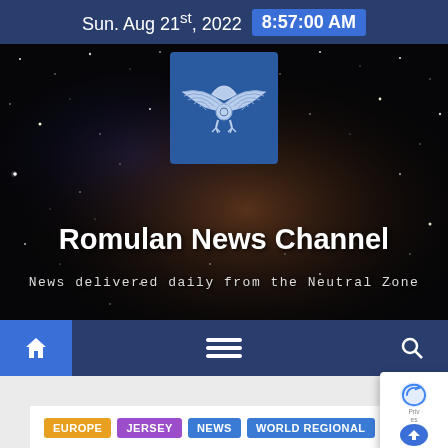Sun. Aug 21st, 2022  8:57:00 AM
[Figure (logo): Romulan News Channel hero banner with space/galaxy background, winged logo icon, site title 'Romulan News Channel', and tagline 'News delivered daily from the Neutral Zone']
Romulan News Channel
News delivered daily from the Neutral Zone
EUROPE
JERSEY
NEWS
WORLD REGIONAL